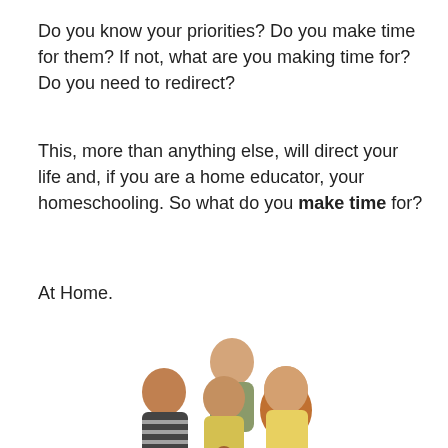Do you know your priorities? Do you make time for them? If not, what are you making time for? Do you need to redirect?
This, more than anything else, will direct your life and, if you are a home educator, your homeschooling. So what do you make time for?
At Home.
[Figure (photo): A smiling family of five (father, mother, two teenagers, and a young child) posing together and holding a sign that reads '5 DAYS OF']